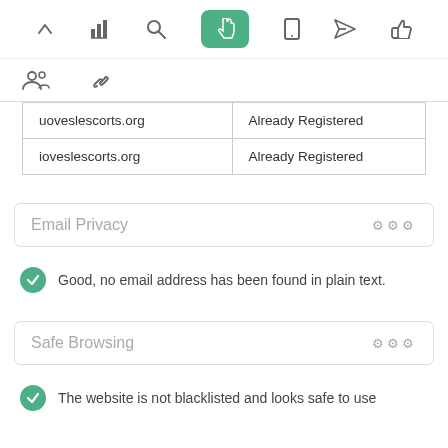[Figure (screenshot): Top navigation bar with icons: up arrow, bar chart, search, hand pointer (active/green), mobile phone, send/arrow, thumbs up]
[Figure (screenshot): Second icon row with group/people icon and link/chain icon]
| uoveslescorts.org | Already Registered |
| ioveslescorts.org | Already Registered |
Email Privacy
Good, no email address has been found in plain text.
Safe Browsing
The website is not blacklisted and looks safe to use